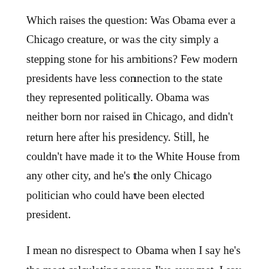Which raises the question: Was Obama ever a Chicago creature, or was the city simply a stepping stone for his ambitions? Few modern presidents have less connection to the state they represented politically. Obama was neither born nor raised in Chicago, and didn't return here after his presidency. Still, he couldn't have made it to the White House from any other city, and he's the only Chicago politician who could have been elected president.
I mean no disrespect to Obama when I say he's the most calculating person I've ever met. I say that with all the respect in the world. No one becomes president by accident. His first calculating move was his move to Chicago. One reason he was attracted to the city: Harold Washington, whose election as mayor demonstrated that Chicago was a place where a politically ambitious young Black man could make it to the top. (In fact, when Obama first ran for office, he hoped to follow Washington's path from the state legislature to Congress to City Hall.) Illinois has